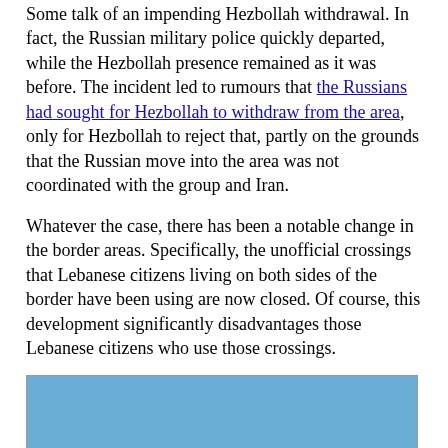Some talk of an impending Hezbollah withdrawal. In fact, the Russian military police quickly departed, while the Hezbollah presence remained as it was before. The incident led to rumours that the Russians had sought for Hezbollah to withdraw from the area, only for Hezbollah to reject that, partly on the grounds that the Russian move into the area was not coordinated with the group and Iran.
Whatever the case, there has been a notable change in the border areas. Specifically, the unofficial crossings that Lebanese citizens living on both sides of the border have been using are now closed. Of course, this development significantly disadvantages those Lebanese citizens who use those crossings.
[Figure (photo): Outdoor scene showing a dirt road with mounds of earth, rubble, and a road sign with blue and yellow coloring partially buried or toppled. Several figures (people) are visible on the mounds in the background against a clear blue sky with sparse vegetation.]